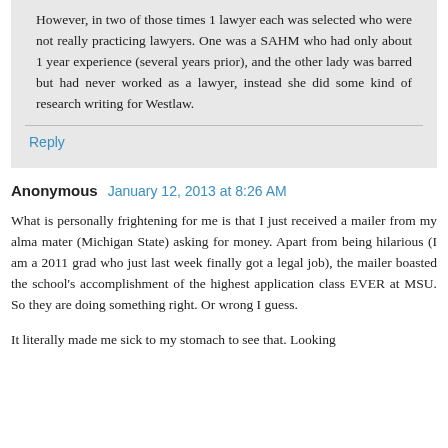However, in two of those times 1 lawyer each was selected who were not really practicing lawyers. One was a SAHM who had only about 1 year experience (several years prior), and the other lady was barred but had never worked as a lawyer, instead she did some kind of research writing for Westlaw.
Reply
Anonymous  January 12, 2013 at 8:26 AM
What is personally frightening for me is that I just received a mailer from my alma mater (Michigan State) asking for money. Apart from being hilarious (I am a 2011 grad who just last week finally got a legal job), the mailer boasted the school's accomplishment of the highest application class EVER at MSU. So they are doing something right. Or wrong I guess.
It literally made me sick to my stomach to see that. Looking